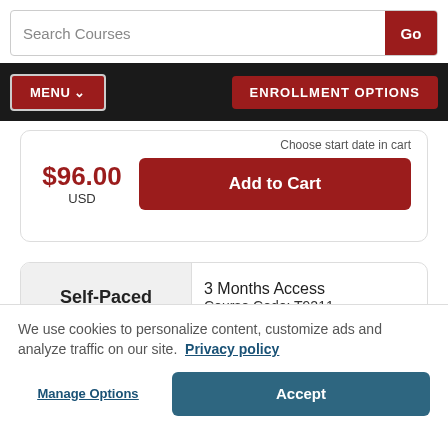Search Courses
Go
MENU
ENROLLMENT OPTIONS
Choose start date in cart
$96.00 USD
Add to Cart
Self-Paced
3 Months Access
Course Code: T9211
No Instructor, Start Anytime
$96.00 USD
Add to Cart
We use cookies to personalize content, customize ads and analyze traffic on our site.
Privacy policy
Manage Options
Accept